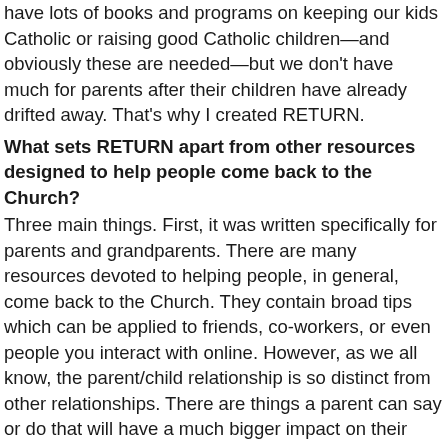have lots of books and programs on keeping our kids Catholic or raising good Catholic children—and obviously these are needed—but we don't have much for parents after their children have already drifted away. That's why I created RETURN.
What sets RETURN apart from other resources designed to help people come back to the Church?
Three main things. First, it was written specifically for parents and grandparents. There are many resources devoted to helping people, in general, come back to the Church. They contain broad tips which can be applied to friends, co-workers, or even people you interact with online. However, as we all know, the parent/child relationship is so distinct from other relationships. There are things a parent can say or do that will have a much bigger impact on their child than on a friend or coworker, and on the other hand, there are things parents should not say or do to their child, simply because of their relationship. I thought it was time that parents and grandparents had a resource specifically designed for them